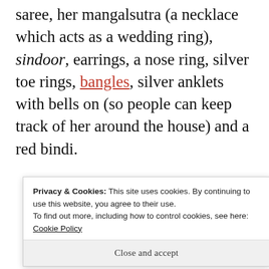saree, her mangalsutra (a necklace which acts as a wedding ring), sindoor, earrings, a nose ring, silver toe rings, bangles, silver anklets with bells on (so people can keep track of her around the house) and a red bindi.
[Figure (other): Longreads advertisement banner: dark red background with white border, logo circle with 'L', text 'LONGREADS' and tagline 'The best stories on the web – ours, and everyone else's.']
Privacy & Cookies: This site uses cookies. By continuing to use this website, you agree to their use.
To find out more, including how to control cookies, see here: Cookie Policy
Close and accept